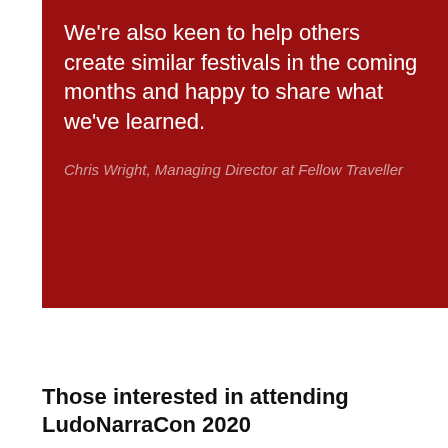We're also keen to help others create similar festivals in the coming months and happy to share what we've learned.
Chris Wright, Managing Director at Fellow Traveller
Those interested in attending LudoNarraCon 2020